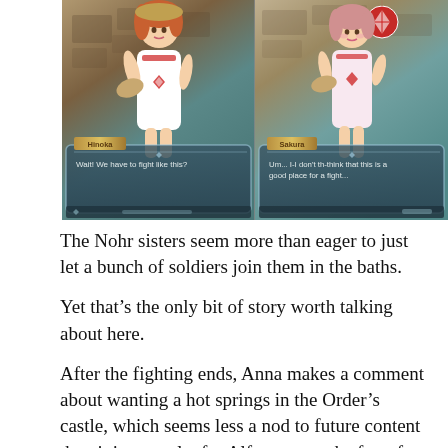[Figure (screenshot): Two side-by-side screenshots from a video game showing anime-style characters Hinoka and Sakura in bath towel outfits. Left panel shows Hinoka with dialogue 'Wait! We have to fight like this?' Right panel shows Sakura with dialogue 'Um... I-I don't th-think that this is a good place for a fight...']
The Nohr sisters seem more than eager to just let a bunch of soldiers join them in the baths.
Yet that's the only bit of story worth talking about here.
After the fighting ends, Anna makes a comment about wanting a hot springs in the Order's castle, which seems less a nod to future content than it is an outlet for Alfonse to make fun of the girls for getting into useless